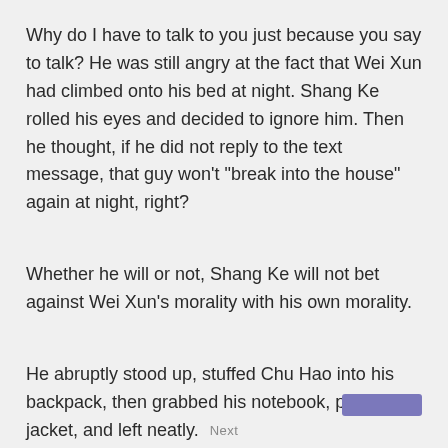Why do I have to talk to you just because you say to talk? He was still angry at the fact that Wei Xun had climbed onto his bed at night. Shang Ke rolled his eyes and decided to ignore him. Then he thought, if he did not reply to the text message, that guy won't "break into the house" again at night, right?
Whether he will or not, Shang Ke will not bet against Wei Xun's morality with his own morality.
He abruptly stood up, stuffed Chu Hao into his backpack, then grabbed his notebook, put on his jacket, and left neatly.